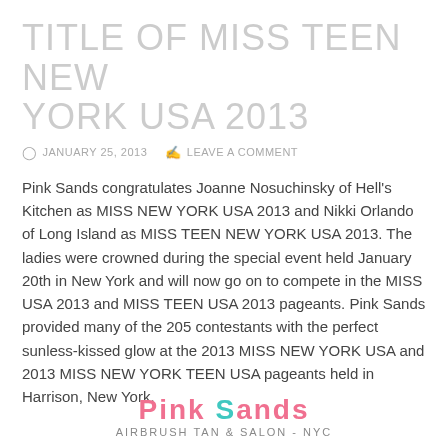TITLE OF MISS TEEN NEW YORK USA 2013
JANUARY 25, 2013   LEAVE A COMMENT
Pink Sands congratulates Joanne Nosuchinsky of Hell's Kitchen as MISS NEW YORK USA 2013 and Nikki Orlando of Long Island as MISS TEEN NEW YORK USA 2013. The ladies were crowned during the special event held January 20th in New York and will now go on to compete in the MISS USA 2013 and MISS TEEN USA 2013 pageants. Pink Sands provided many of the 205 contestants with the perfect sunless-kissed glow at the 2013 MISS NEW YORK USA and 2013 MISS NEW YORK TEEN USA pageants held in Harrison, New York.
[Figure (logo): Pink Sands Airbrush Tan & Salon - NYC logo in pink and teal colors]